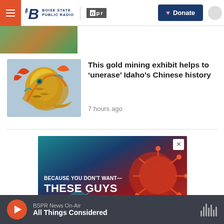Boise State Public Radio | NPR | Donate
[Figure (photo): Partially visible photograph cropped at top, showing outdoor scene]
[Figure (illustration): Colorful Chinese dragon illustration on article thumbnail]
This gold mining exhibit helps to ‘unerase’ Idaho’s Chinese history
7 hours ago
[Figure (photo): Advertisement: BECAUSE YOU DON’T WANT— THESE GUYS FLYING AROUND YOUR HOME. Shows microscopic virus/bacteria imagery.]
BSPR News On-Air — All Things Considered